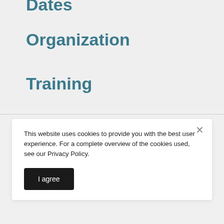Dates
Organization
Training
This website uses cookies to provide you with the best user experience. For a complete overview of the cookies used, see our Privacy Policy.
I agree